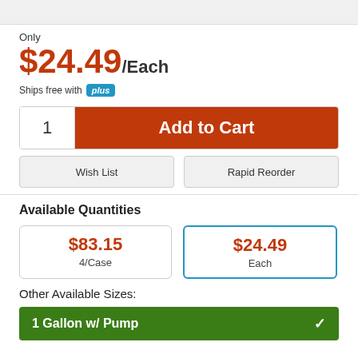Only
$24.49/Each
Ships free with plus
1  Add to Cart
Wish List
Rapid Reorder
Available Quantities
$83.15
4/Case
$24.49
Each
Other Available Sizes:
1 Gallon w/ Pump